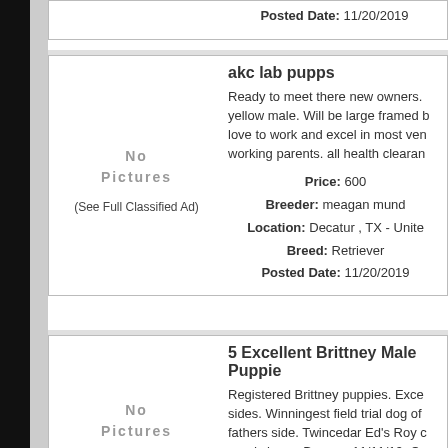Posted Date: 11/20/2019
akc lab pupps
[Figure (other): No Pictures placeholder]
(See Full Classified Ad)
Ready to meet there new owners. yellow male. Will be large framed b love to work and excel in most ven working parents. all health clearan
Price: 600
Breeder: meagan mund
Location: Decatur , TX - Unite
Breed: Retriever
Posted Date: 11/20/2019
5 Excellent Brittney Male Puppie
[Figure (other): No Pictures placeholder]
(See Full Classified Ad)
Registered Brittney puppies. Exce sides. Winningest field trial dog of fathers side. Twincedar Ed's Roy c good shape. Born on 11/11/19. On
Price: 900.00
Breeder: Benji Bona